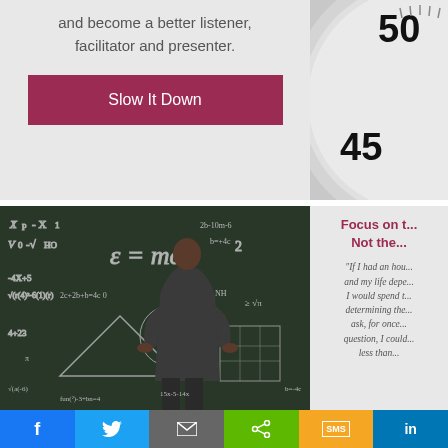and become a better listener, facilitator and presenter.
Slow It Down
[Figure (photo): Partial view of a stopwatch/clock showing numbers 45 and 50 on the dial, in grayscale]
[Figure (photo): Man in dark suit standing with hands on hips looking at a blackboard covered in mathematical equations and diagrams including E=mc2]
Focus on t... Not the...
"If I had an hou... and my life depe... I would spend t... determining the... ask, for once... question, I could... less than...
f  Twitter  mail  share  SMS  in